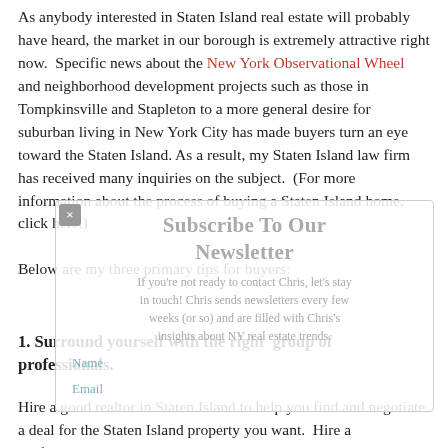As anybody interested in Staten Island real estate will probably have heard, the market in our borough is extremely attractive right now. Specific news about the New York Observational Wheel and neighborhood development projects such as those in Tompkinsville and Stapleton to a more general desire for suburban living in New York City has made buyers turn an eye toward the Staten Island. As a result, my Staten Island law firm has received many inquiries on the subject. (For more information about the process of buying a Staten Island home, click here.)
Below are my three primary tips for buyers:
[Figure (other): Newsletter subscription overlay modal with 'Subscribe To Our Newsletter' heading, close button (x), subtext about contacting Chris and staying in the loop on NY real estate trends every few weeks, and Name/Email field labels.]
1. Surround yourself with the right group of professionals.
Hire a good realtor in Staten Island to help you find and negotiate a deal for the Staten Island property you want. Hire a professional home inspector, do your due